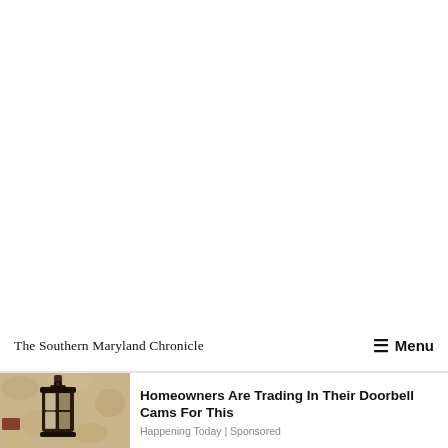The Southern Maryland Chronicle  ☰ Menu
[Figure (photo): Outdoor wall-mounted lantern light fixture against a textured stone/stucco wall]
Homeowners Are Trading In Their Doorbell Cams For This
Happening Today | Sponsored